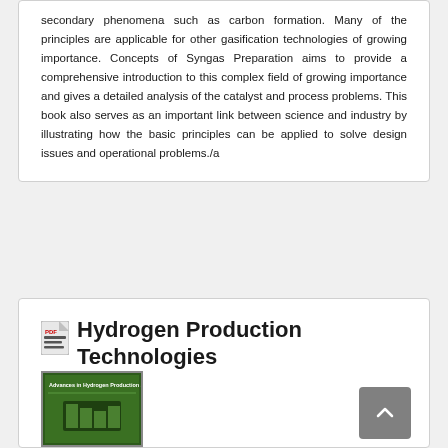secondary phenomena such as carbon formation. Many of the principles are applicable for other gasification technologies of growing importance. Concepts of Syngas Preparation aims to provide a comprehensive introduction to this complex field of growing importance and gives a detailed analysis of the catalyst and process problems. This book also serves as an important link between science and industry by illustrating how the basic principles can be applied to solve design issues and operational problems./a
Hydrogen Production Technologies
[Figure (photo): Book cover thumbnail for Advances in Hydrogen Production and Storage, green cover with graphic elements]